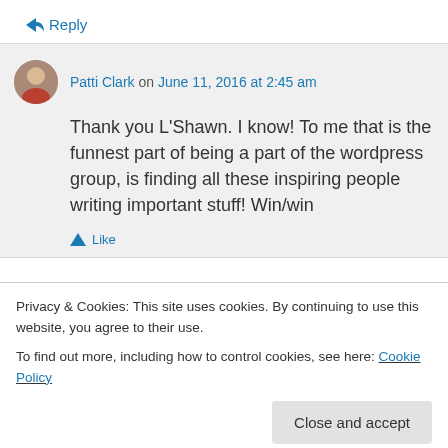↪ Reply
Patti Clark on June 11, 2016 at 2:45 am
Thank you L'Shawn. I know! To me that is the funnest part of being a part of the wordpress group, is finding all these inspiring people writing important stuff! Win/win
Like
Privacy & Cookies: This site uses cookies. By continuing to use this website, you agree to their use. To find out more, including how to control cookies, see here: Cookie Policy
Close and accept
Thanks for the follow Patti! I hope you enjoy